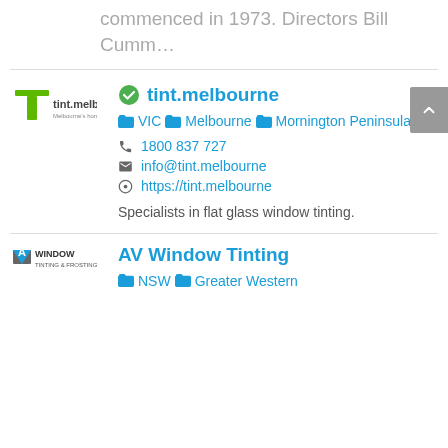commenced in 1973. Directors Bill Cumm…
[Figure (logo): tint.melbourne logo with green T and tagline]
tint.melbourne
VIC  Melbourne  Mornington Peninsula
1800 837 727
info@tint.melbourne
https://tint.melbourne
Specialists in flat glass window tinting.
[Figure (logo): AV Window Tinting & Frosting logo]
AV Window Tinting
NSW  Greater Western